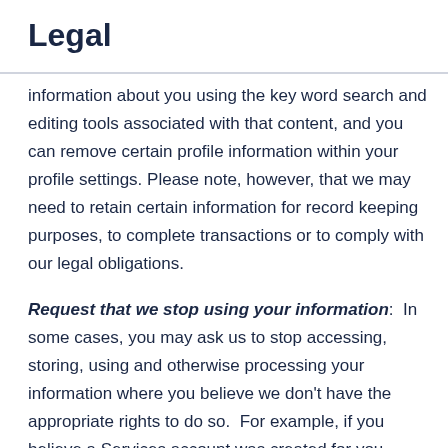Legal
information about you using the key word search and editing tools associated with that content, and you can remove certain profile information within your profile settings. Please note, however, that we may need to retain certain information for record keeping purposes, to complete transactions or to comply with our legal obligations.
Request that we stop using your information:  In some cases, you may ask us to stop accessing, storing, using and otherwise processing your information where you believe we don't have the appropriate rights to do so.  For example, if you believe a Services account was created for you without your permission or consent...